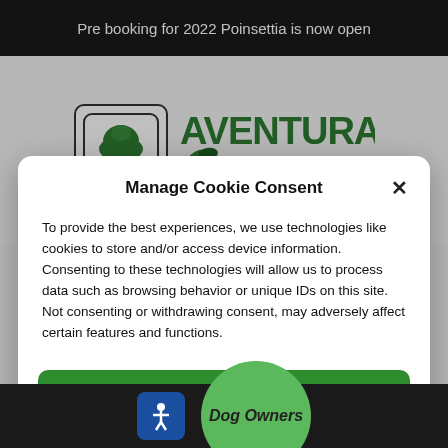Pre booking for 2022 Poinsettia is now open
[Figure (logo): Aventura Nursery logo with hand holding a tree and green leaf accents]
Manage Cookie Consent
To provide the best experiences, we use technologies like cookies to store and/or access device information. Consenting to these technologies will allow us to process data such as browsing behavior or unique IDs on this site. Not consenting or withdrawing consent, may adversely affect certain features and functions.
Accept
Cookie Policy